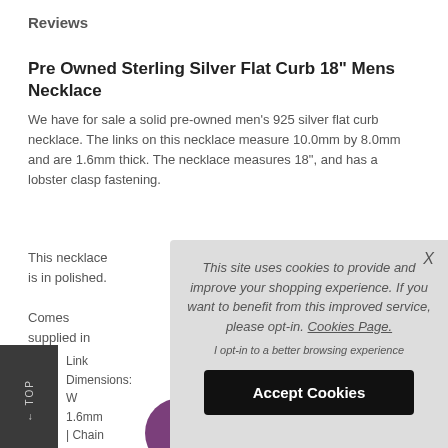Reviews
Pre Owned Sterling Silver Flat Curb 18" Mens Necklace
We have for sale a solid pre-owned men's 925 silver flat curb necklace. The links on this necklace measure 10.0mm by 8.0mm and are 1.6mm thick. The necklace measures 18", and has a lobster clasp fastening.
This necklace is in polished.
Comes supplied in
Link Dimensions: W 1.6mm | Chain Len
[Figure (screenshot): Cookie consent overlay with message: This site uses cookies to provide and improve your shopping experience. If you want to benefit from this improved service, please opt-in. Cookies Page. With opt-in link and Accept Cookies button.]